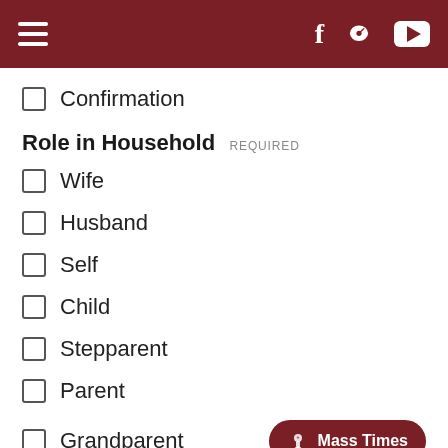Navigation bar with hamburger menu, Facebook, chat, and YouTube icons
Confirmation
Role in Household REQUIRED
Wife
Husband
Self
Child
Stepparent
Parent
Grandparent